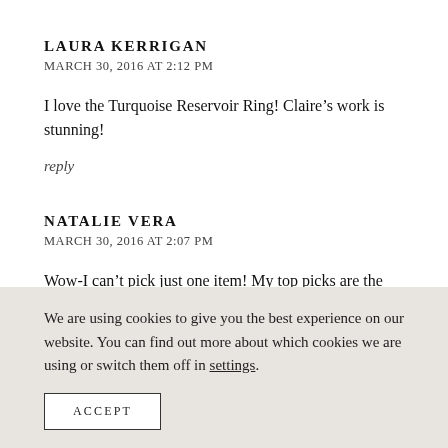LAURA KERRIGAN
MARCH 30, 2016 AT 2:12 PM
I love the Turquoise Reservoir Ring! Claire’s work is stunning!
reply
NATALIE VERA
MARCH 30, 2016 AT 2:07 PM
Wow-I can’t pick just one item! My top picks are the Sextile Studs, the Mini Oasis Ring w/Turquoise, or the Caravan Collar.
We are using cookies to give you the best experience on our website. You can find out more about which cookies we are using or switch them off in settings.
ACCEPT